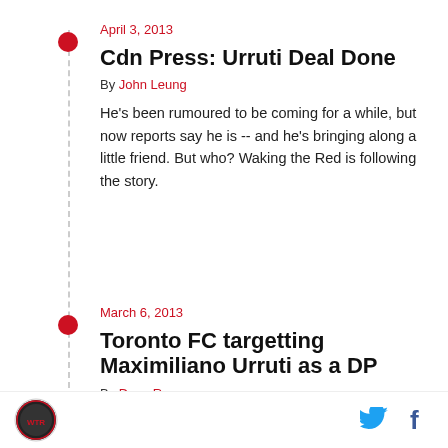April 3, 2013
Cdn Press: Urruti Deal Done
By John Leung
He's been rumoured to be coming for a while, but now reports say he is -- and he's bringing along a little friend. But who? Waking the Red is following the story.
March 6, 2013
Toronto FC targetting Maximiliano Urruti as a DP
By Dave Rowaan
Kristian Jack is reporting that Toronto FC's target for a young DP in Argentina is Newell's Old Boys